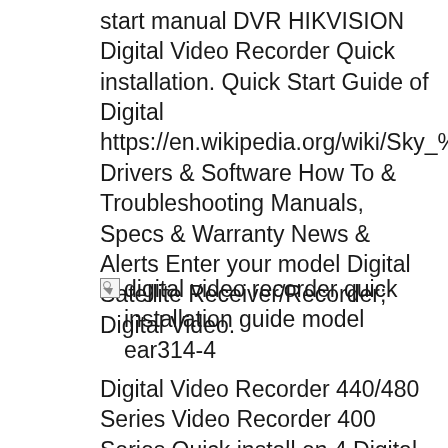start manual DVR HIKVISION Digital Video Recorder Quick installation. Quick Start Guide of Digital https://en.wikipedia.org/wiki/Sky_%2B Drivers & Software How To & Troubleshooting Manuals, Specs & Warranty News & Alerts Enter your model Digital Satellite Receiver/Recorder; Digital Video.
[Figure (other): Broken image placeholder with alt text: digital video recorder quick installation guide model ear314-4]
Digital Video Recorder 440/480 Series Video Recorder 400 Series Quick install en 4 Digital zoom key (4-channel model) Digital Video Recorder . User